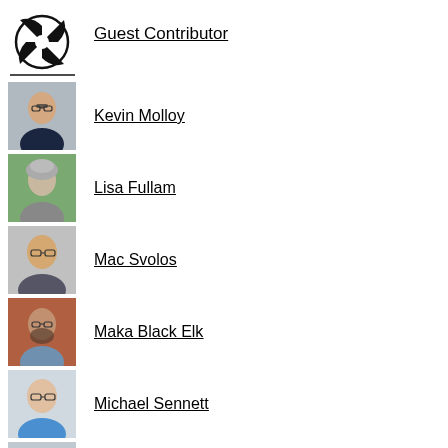[Figure (logo): Circular logo with abstract pinwheel/basketball-like design in black and white]
Guest Contributor
[Figure (photo): Headshot of Kevin Molloy, young man with glasses in a suit]
Kevin Molloy
[Figure (photo): Headshot of Lisa Fullam, woman with gray hair outdoors]
Lisa Fullam
[Figure (photo): Headshot of Mac Svolos, young man in plaid shirt]
Mac Svolos
[Figure (photo): Headshot of Maka Black Elk, man with beard in front of brick wall]
Maka Black Elk
[Figure (photo): Headshot of Michael Sennett, man with glasses in blue shirt]
Michael Sennett
[Figure (photo): Headshot of Michaelangelo Allocca, partially visible]
Michaelangelo Allocca